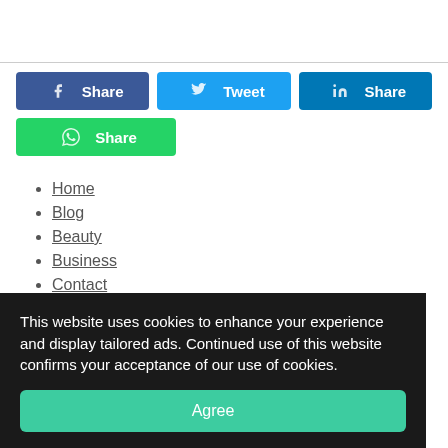[Figure (other): Social share buttons row: Facebook Share (blue), Twitter Tweet (light blue), LinkedIn Share (dark blue), WhatsApp Share (green)]
Home
Blog
Beauty
Business
Contact
[Figure (illustration): Decorative script text reading 'Your Mindset' in teal/green cursive font]
This website uses cookies to enhance your experience and display tailored ads. Continued use of this website confirms your acceptance of our use of cookies.
Agree